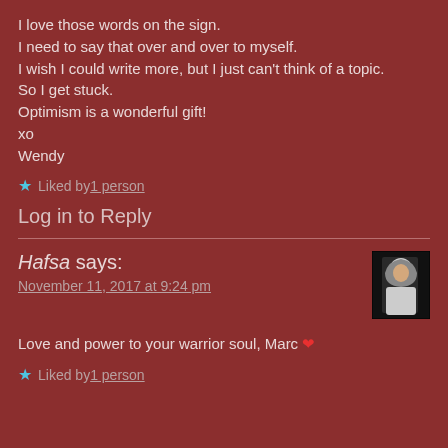I love those words on the sign.
I need to say that over and over to myself.
I wish I could write more, but I just can't think of a topic.
So I get stuck.
Optimism is a wonderful gift!
xo
Wendy
★ Liked by 1 person
Log in to Reply
Hafsa says:
November 11, 2017 at 9:24 pm
[Figure (photo): Small avatar photo of a person wearing a hijab against dark background]
Love and power to your warrior soul, Marc ❤
★ Liked by 1 person